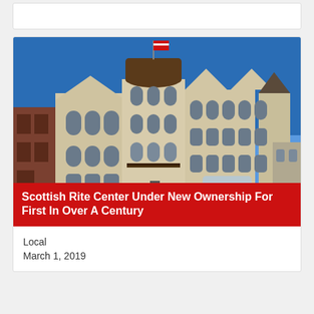[Figure (photo): Exterior photograph of the Scottish Rite Center building, a large historic limestone Romanesque Revival structure with a round tower topped by an American flag, arched windows, and ornate roofline details, under a clear blue sky.]
Scottish Rite Center Under New Ownership For First In Over A Century
Local
March 1, 2019